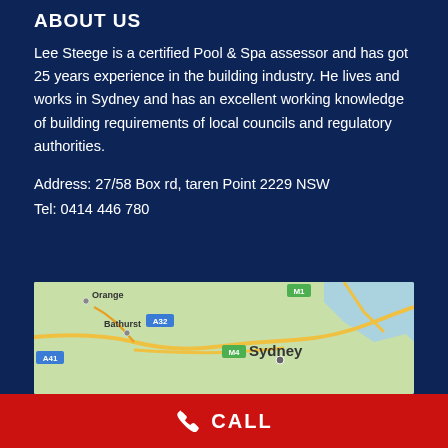ABOUT US
Lee Steege is a certified Pool & Spa assessor and has got 25 years experience in the building industry. He lives and works in Sydney and has an excellent working knowledge of building requirements of local councils and regulatory authorities.
Address: 27/58 Box rd, taren Point 2229 NSW
Tel: 0414 446 780
[Figure (map): Google Maps screenshot showing Sydney, NSW area with Orange, Bathurst, and road labels A32, A41, M4, M1 visible.]
CALL